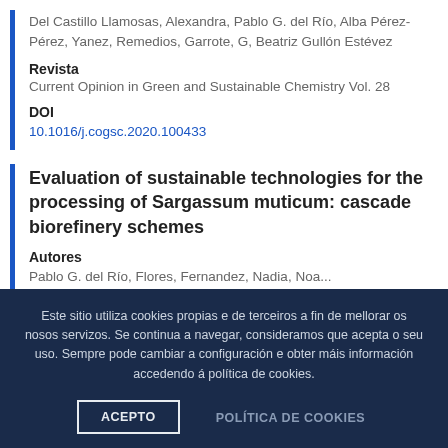Del Castillo Llamosas, Alexandra, Pablo G. del Río, Alba Pérez-Pérez, Yanez, Remedios, Garrote, G, Beatriz Gullón Estévez
Revista
Current Opinion in Green and Sustainable Chemistry Vol. 28
DOI
10.1016/j.cogsc.2020.100433
Evaluation of sustainable technologies for the processing of Sargassum muticum: cascade biorefinery schemes
Autores
Pablo G. del Río, Flores, Fernandez, Nadia, Noa...
Este sitio utiliza cookies propias e de terceiros a fin de mellorar os nosos servizos. Se continua a navegar, consideramos que acepta o seu uso. Sempre pode cambiar a configuración e obter máis información accedendo á política de cookies.
ACEPTO
POLÍTICA DE COOKIES